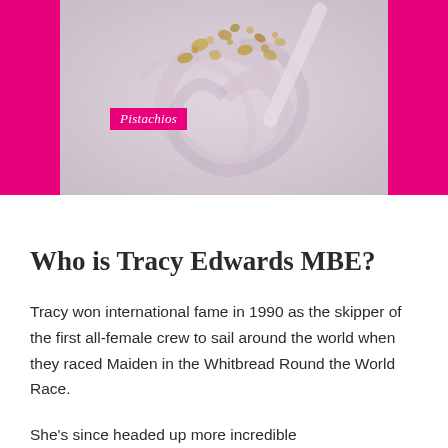[Figure (photo): Photo of a food dish (likely a dessert with pistachios and swirled cream/yogurt) with bright pink/magenta side bars and a 'Pistachios' label overlay on the image.]
Who is Tracy Edwards MBE?
Tracy won international fame in 1990 as the skipper of the first all-female crew to sail around the world when they raced Maiden in the Whitbread Round the World Race.
She's since headed up more incredible